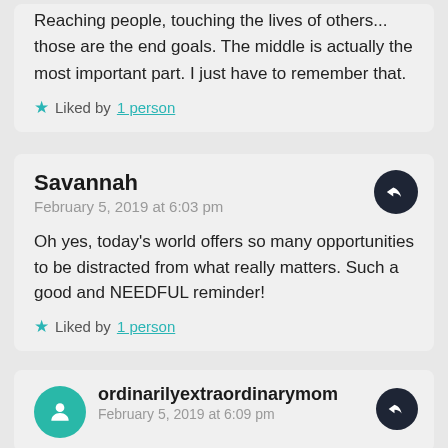Reaching people, touching the lives of others... those are the end goals. The middle is actually the most important part. I just have to remember that.
Liked by 1 person
Savannah
February 5, 2019 at 6:03 pm
Oh yes, today's world offers so many opportunities to be distracted from what really matters. Such a good and NEEDFUL reminder!
Liked by 1 person
ordinarilyextraordinarymom
February 5, 2019 at 6:09 pm